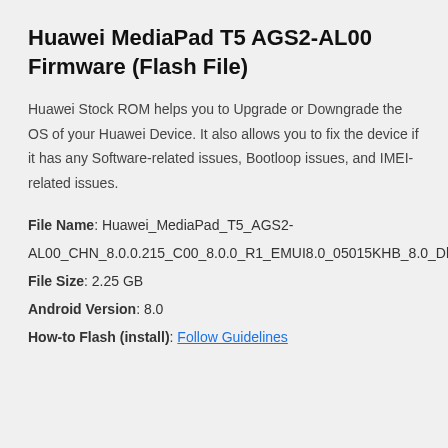Huawei MediaPad T5 AGS2-AL00 Firmware (Flash File)
Huawei Stock ROM helps you to Upgrade or Downgrade the OS of your Huawei Device. It also allows you to fix the device if it has any Software-related issues, Bootloop issues, and IMEI-related issues.
File Name: Huawei_MediaPad_T5_AGS2-AL00_CHN_8.0.0.215_C00_8.0.0_R1_EMUI8.0_05015KHB_8.0_Dload.zip
File Size: 2.25 GB
Android Version: 8.0
How-to Flash (install): Follow Guidelines